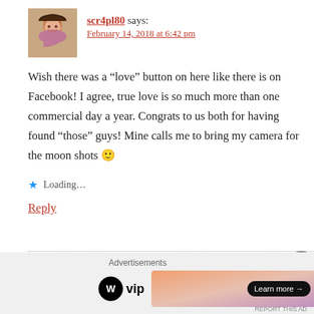[Figure (photo): Small square avatar photo of a woman smiling]
scr4pl80 says:
February 14, 2018 at 6:42 pm
Wish there was a “love” button on here like there is on Facebook! I agree, true love is so much more than one commercial day a year. Congrats to us both for having found “those” guys! Mine calls me to bring my camera for the moon shots 🙂
Loading...
Reply
Advertisements
[Figure (logo): WordPress VIP logo and advertisement banner with Learn more button]